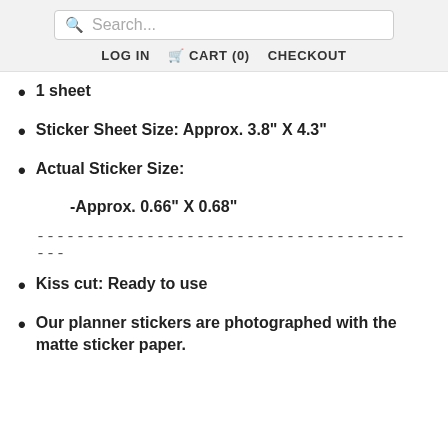Search... | LOG IN | CART (0) | CHECKOUT
1 sheet
Sticker Sheet Size: Approx. 3.8" X 4.3"
Actual Sticker Size:
-Approx.  0.66" X 0.68"
----------------------------------------
Kiss cut: Ready to use
Our planner stickers are photographed with the matte sticker paper.